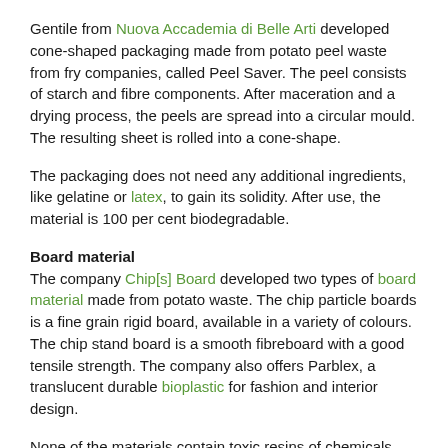Gentile from Nuova Accademia di Belle Arti developed cone-shaped packaging made from potato peel waste from fry companies, called Peel Saver. The peel consists of starch and fibre components. After maceration and a drying process, the peels are spread into a circular mould. The resulting sheet is rolled into a cone-shape.
The packaging does not need any additional ingredients, like gelatine or latex, to gain its solidity. After use, the material is 100 per cent biodegradable.
Board material
The company Chip[s] Board developed two types of board material made from potato waste. The chip particle boards is a fine grain rigid board, available in a variety of colours. The chip stand board is a smooth fibreboard with a good tensile strength. The company also offers Parblex, a translucent durable bioplastic for fashion and interior design.
None of the materials contain toxic resins of chemicals derived from oil. Each potato based product has the material...